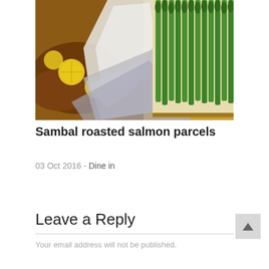[Figure (photo): Food photo showing salmon parcels wrapped in foil and parchment paper with lemon slices, alongside a tray of green asparagus spears]
Sambal roasted salmon parcels
03 Oct 2016 - Dine in
Leave a Reply
Your email address will not be published.